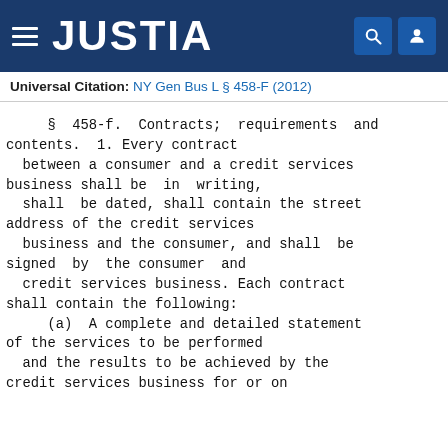JUSTIA
Universal Citation: NY Gen Bus L § 458-F (2012)
§ 458-f. Contracts; requirements and contents. 1. Every contract between a consumer and a credit services business shall be in writing, shall be dated, shall contain the street address of the credit services business and the consumer, and shall be signed by the consumer and credit services business. Each contract shall contain the following:
(a) A complete and detailed statement of the services to be performed and the results to be achieved by the credit services business for or on